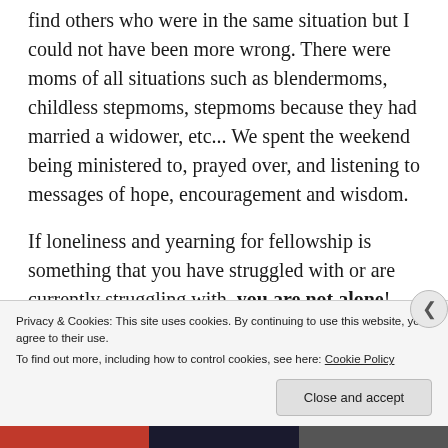find others who were in the same situation but I could not have been more wrong. There were moms of all situations such as blendermoms, childless stepmoms, stepmoms because they had married a widower, etc... We spent the weekend being ministered to, prayed over, and listening to messages of hope, encouragement and wisdom.
If loneliness and yearning for fellowship is something that you have struggled with or are currently struggling with, you are not alone! There is a sisterhood out there. Sisters that know what stepfamily daily life is like. Sisters who are riding the roller coaster of hills and valleys. Sisters who understand the
Privacy & Cookies: This site uses cookies. By continuing to use this website, you agree to their use.
To find out more, including how to control cookies, see here: Cookie Policy
Close and accept